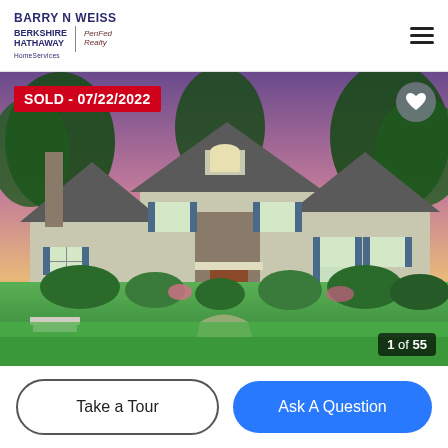BARRY N WEISS | BERKSHIRE HATHAWAY PenFed Realty HomeServices
[Figure (photo): Exterior photo of a large two-story colonial-style home at dusk with purple/pink sky, green lawn, stone accents, blue shutters, and lush landscaping. Red badge overlay reads SOLD - 07/22/2022. Photo counter shows 1 of 55.]
Take a Tour
Ask A Question